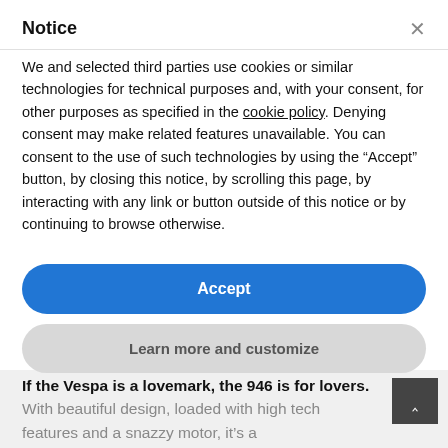Notice
We and selected third parties use cookies or similar technologies for technical purposes and, with your consent, for other purposes as specified in the cookie policy. Denying consent may make related features unavailable. You can consent to the use of such technologies by using the “Accept” button, by closing this notice, by scrolling this page, by interacting with any link or button outside of this notice or by continuing to browse otherwise.
Accept
Learn more and customize
If the Vespa is a lovemark, the 946 is for lovers. With beautiful design, loaded with high tech features and a snazzy motor, it’s a